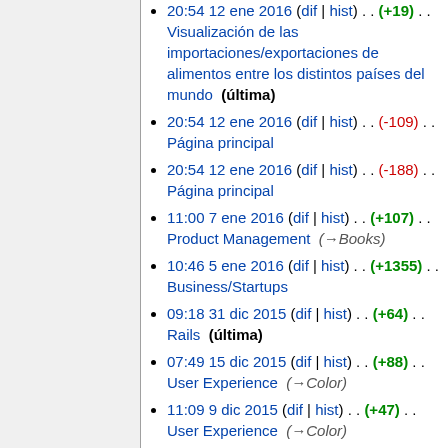20:54 12 ene 2016 (dif | hist) . . (+19) . . Visualización de las importaciones/exportaciones de alimentos entre los distintos países del mundo (última)
20:54 12 ene 2016 (dif | hist) . . (-109) . . Página principal
20:54 12 ene 2016 (dif | hist) . . (-188) . . Página principal
11:00 7 ene 2016 (dif | hist) . . (+107) . . Product Management (→Books)
10:46 5 ene 2016 (dif | hist) . . (+1355) . . Business/Startups
09:18 31 dic 2015 (dif | hist) . . (+64) . . Rails (última)
07:49 15 dic 2015 (dif | hist) . . (+88) . . User Experience (→Color)
11:09 9 dic 2015 (dif | hist) . . (+47) . . User Experience (→Color)
09:11 9 dic 2015 (dif | hist) . . (+122)